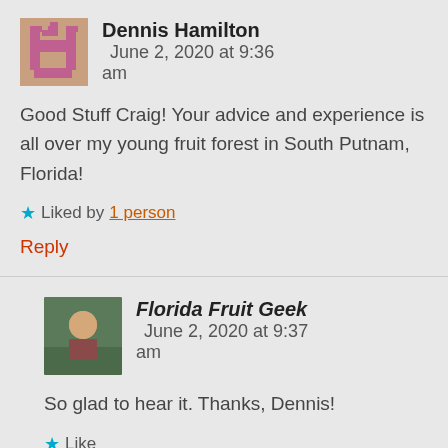Dennis Hamilton   June 2, 2020 at 9:36 am
Good Stuff Craig! Your advice and experience is all over my young fruit forest in South Putnam, Florida!
★ Liked by 1 person
Reply
Florida Fruit Geek   June 2, 2020 at 9:37 am
So glad to hear it. Thanks, Dennis!
★ Like